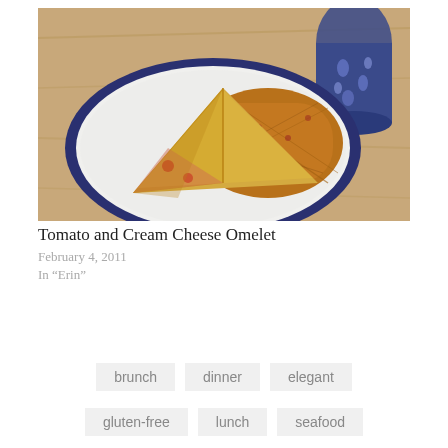[Figure (photo): A plate with a tomato and cream cheese omelet folded in half alongside hash browns, on a white plate with a dark blue rim, on a wooden table. A decorative blue mug is visible in the background.]
Tomato and Cream Cheese Omelet
February 4, 2011
In "Erin"
brunch
dinner
elegant
gluten-free
lunch
seafood